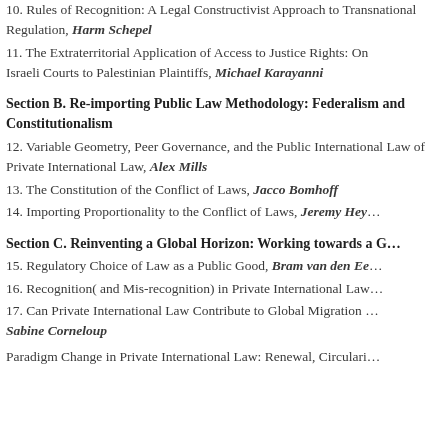10. Rules of Recognition: A Legal Constructivist Approach to Transnational Regulation, Harm Schepel
11. The Extraterritorial Application of Access to Justice Rights: On Israeli Courts to Palestinian Plaintiffs, Michael Karayanni
Section B. Re-importing Public Law Methodology: Federalism and Constitutionalism
12. Variable Geometry, Peer Governance, and the Public International Law of Private International Law, Alex Mills
13. The Constitution of the Conflict of Laws, Jacco Bomhoff
14. Importing Proportionality to the Conflict of Laws, Jeremy Hey…
Section C. Reinventing a Global Horizon: Working towards a G…
15. Regulatory Choice of Law as a Public Good, Bram van den Ee…
16. Recognition( and Mis-recognition) in Private International Law…
17. Can Private International Law Contribute to Global Migration … Sabine Corneloup
Paradigm Change in Private International Law: Renewal, Circulari…